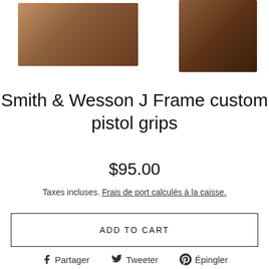[Figure (photo): Two photos of wooden pistol grips — left photo shows grip from one angle, right photo shows grip from another angle]
Smith & Wesson J Frame custom pistol grips
$95.00
Taxes incluses. Frais de port calculés à la caisse.
ADD TO CART
Partager  Tweeter  Épingler